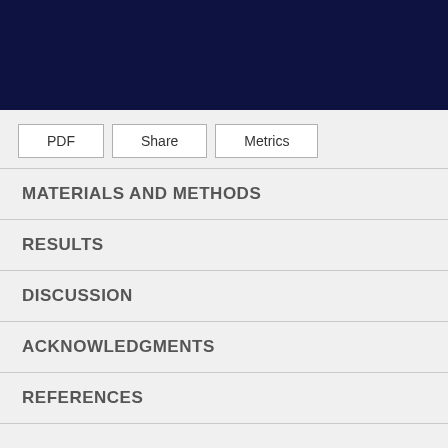MATERIALS AND METHODS
RESULTS
DISCUSSION
ACKNOWLEDGMENTS
REFERENCES
Copyright © Korean Geriatrics Society. View Full Site